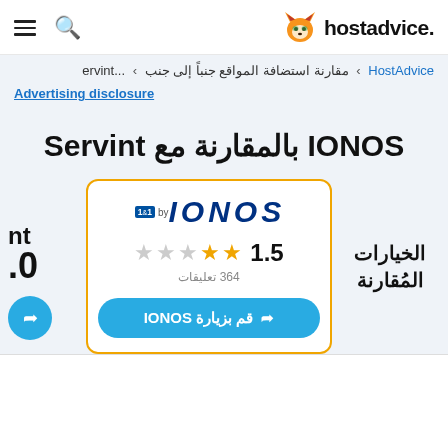hostadvice.
HostAdvice < مقارنة استضافة المواقع جنباً إلى جنب < ...ervint
Advertising disclosure
IONOS بالمقارنة مع Servint
الخيارات المُقارنة
[Figure (screenshot): IONOS by 1&1 logo with rating 1.5 stars (364 reviews) and a visit button]
1.5 / 364 تعليقات
قم بزيارة IONOS